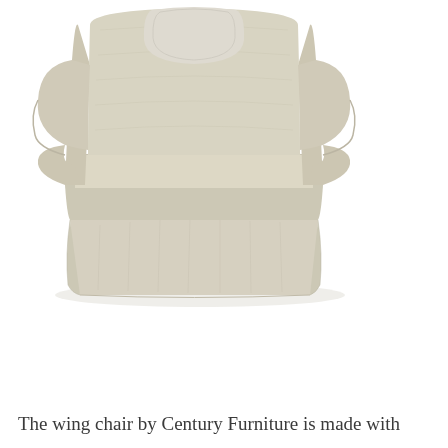[Figure (photo): A beige/cream upholstered wing chair with skirted base and matching lumbar pillow, photographed on a white background. The chair features rolled arms, a high winged back, and a loose linen slipcover with a floor-length skirt.]
The wing chair by Century Furniture is made with